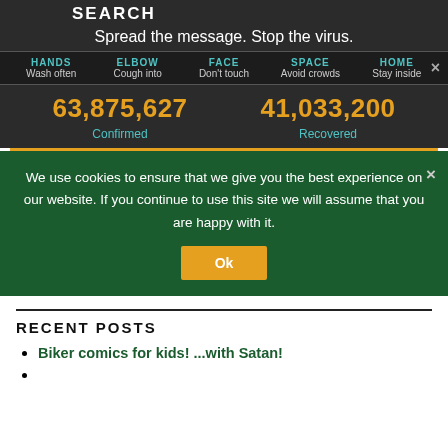SEARCH
Spread the message. Stop the virus.
HANDS Wash often | ELBOW Cough into | FACE Don't touch | SPACE Avoid crowds | HOME Stay inside
63,875,627 Confirmed | 41,033,200 Recovered
We use cookies to ensure that we give you the best experience on our website. If you continue to use this site we will assume that you are happy with it.
RECENT POSTS
Biker comics for kids! ...with Satan!